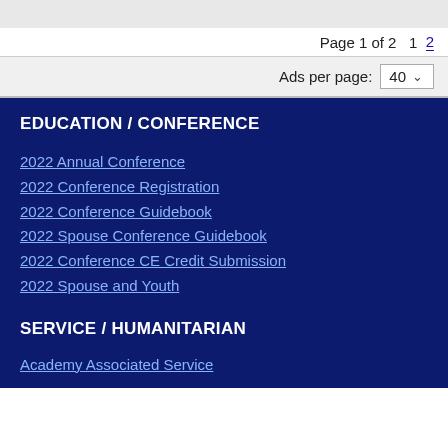Page 1 of 2  1  2
Ads per page: 40
EDUCATION / CONFERENCE
2022 Annual Conference
2022 Conference Registration
2022 Conference Guidebook
2022 Spouse Conference Guidebook
2022 Conference CE Credit Submission
2022 Spouse and Youth
SERVICE / HUMANITARIAN
Academy Associated Service